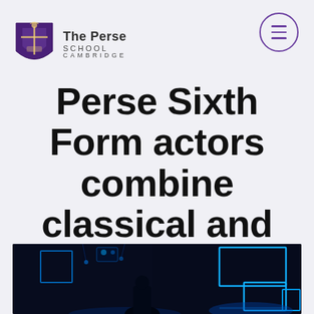The Perse School Cambridge
Perse Sixth Form actors combine classical and contemporary in powerful play
[Figure (photo): Dark theatre stage scene lit with vivid blue LED lights forming rectangular outlines on stage set pieces, with a performer partially visible in the foreground]